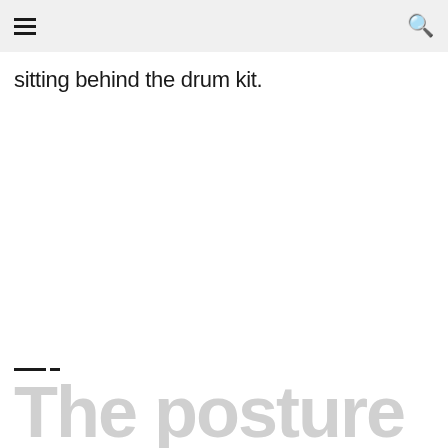≡  🔍
sitting behind the drum kit.
The posture